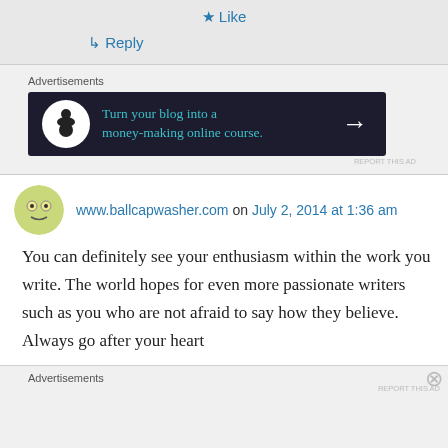★ Like
↳ Reply
Advertisements
[Figure (infographic): Dark navy advertisement banner: bonsai tree icon in white circle on left, teal text reading 'Turn your blog into a money-making online course.' with white arrow on right]
REPORT THIS AD
www.ballcapwasher.com on July 2, 2014 at 1:36 am
You can definitely see your enthusiasm within the work you write. The world hopes for even more passionate writers such as you who are not afraid to say how they believe. Always go after your heart
Advertisements
REPORT THIS AD